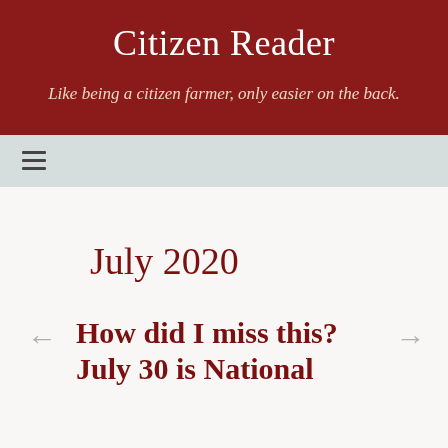Citizen Reader
Like being a citizen farmer, only easier on the back.
≡
July 2020
← How did I miss this? July 30 is National →